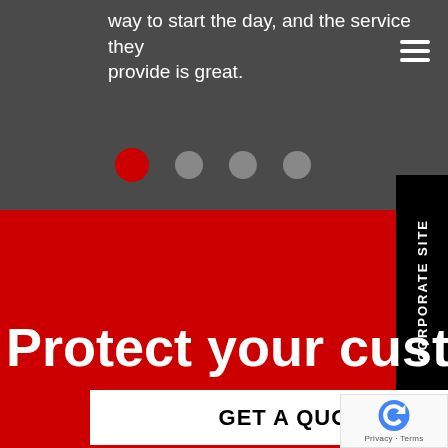way to start the day, and the service they provide is great.
[Figure (other): Carousel dot navigation indicators: one red active dot followed by three gray inactive dots]
[Figure (other): Black vertical tab on right side reading 'CORPORATE SITE' rotated 90 degrees]
Protect your customer
GET A QUOTE
[Figure (other): reCAPTCHA logo badge with Privacy - Terms text]